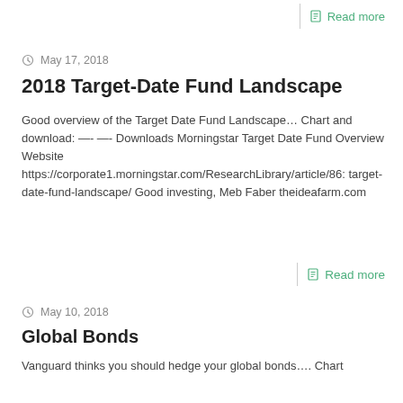Read more
May 17, 2018
2018 Target-Date Fund Landscape
Good overview of the Target Date Fund Landscape… Chart and download: —- —- Downloads Morningstar Target Date Fund Overview Website https://corporate1.morningstar.com/ResearchLibrary/article/86: target-date-fund-landscape/ Good investing, Meb Faber theideafarm.com
Read more
May 10, 2018
Global Bonds
Vanguard thinks you should hedge your global bonds…. Chart